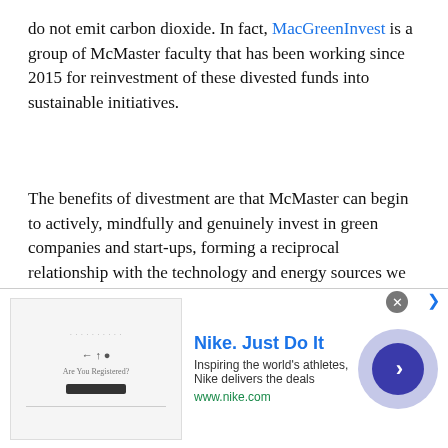do not emit carbon dioxide. In fact, MacGreenInvest is a group of McMaster faculty that has been working since 2015 for reinvestment of these divested funds into sustainable initiatives.
The benefits of divestment are that McMaster can begin to actively, mindfully and genuinely invest in green companies and start-ups, forming a reciprocal relationship with the technology and energy sources we want to see thrive in the future.
We know we haven't answered all the misconceptions about divestment at McMaster. There are still well-placed concerns about the complexities of removing pooled funding and monitoring progress year-by-year. But once you start thinking about the complexities of how to divest, you've already agreed then that divestment is necessary.
[Figure (screenshot): Nike advertisement banner: 'Nike. Just Do It' with tagline 'Inspiring the world's athletes, Nike delivers the deals' and URL www.nike.com. Includes a close button (X) and a blue circular arrow button.]